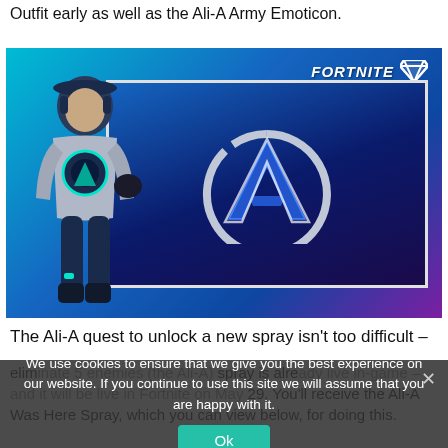Outfit early as well as the Ali-A Army Emoticon.
[Figure (screenshot): Fortnite promotional image showing the Ali-A character skin in a blue sci-fi armored suit, posing in front of a large Ali-A logo (letter A with circular arc). The Fortnite logo with wing icon appears in the top-right corner. Background is deep blue/cyan gradient.]
The Ali-A quest to unlock a new spray isn't too difficult –
eliminate 5 enemies (the Ali-A) spray is already live in-game – and it will be live in Fortnite on May 29. You'll receive the Ali-A Was Here Spray, which you can view below, for doing this.
We use cookies to ensure that we give you the best experience on our website. If you continue to use this site we will assume that you are happy with it.